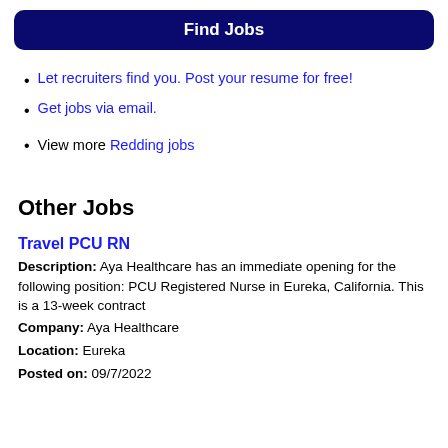Find Jobs
Let recruiters find you. Post your resume for free!
Get jobs via email.
View more Redding jobs
Other Jobs
Travel PCU RN
Description: Aya Healthcare has an immediate opening for the following position: PCU Registered Nurse in Eureka, California. This is a 13-week contract
Company: Aya Healthcare
Location: Eureka
Posted on: 09/7/2022